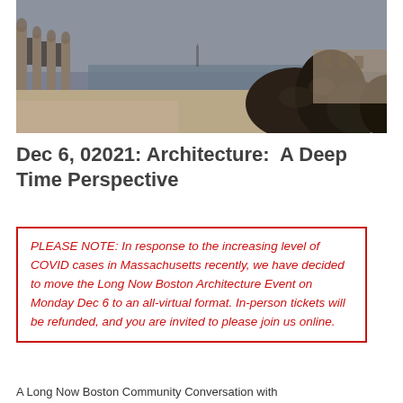[Figure (photo): Outdoor architectural ruins scene with stone arches and columns near water, dark rocks in foreground, overcast sky, sepia/desaturated tone]
Dec 6, 02021: Architecture:  A Deep Time Perspective
PLEASE NOTE: In response to the increasing level of COVID cases in Massachusetts recently, we have decided to move the Long Now Boston Architecture Event on Monday Dec 6 to an all-virtual format. In-person tickets will be refunded, and you are invited to please join us online.
A Long Now Boston Community Conversation with